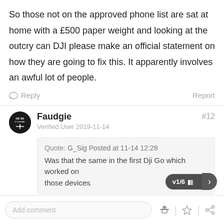So those not on the approved phone list are sat at home with a £500 paper weight and looking at the outcry can DJI please make an official statement on how they are going to fix this. It apparently involves an awful lot of people.
Reply   Report
Faudgie   #12
Verified User 2019-11-14
Quote: G_Sig Posted at 11-14 12:28
Was that the same in the first Dji Go which worked on those devices